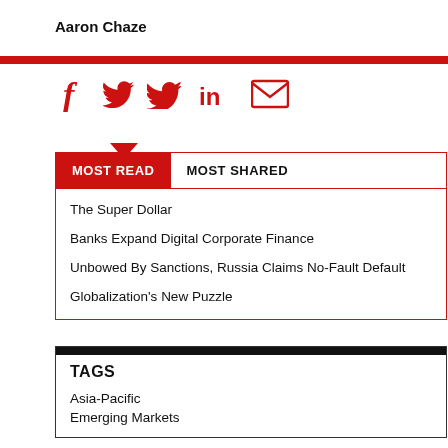Aaron Chaze
[Figure (infographic): Social media share icons: Facebook (f), Twitter (bird), LinkedIn (in), Email (envelope) in red]
MOST READ | MOST SHARED
The Super Dollar
Banks Expand Digital Corporate Finance
Unbowed By Sanctions, Russia Claims No-Fault Default
Globalization's New Puzzle
TAGS
Asia-Pacific
Emerging Markets